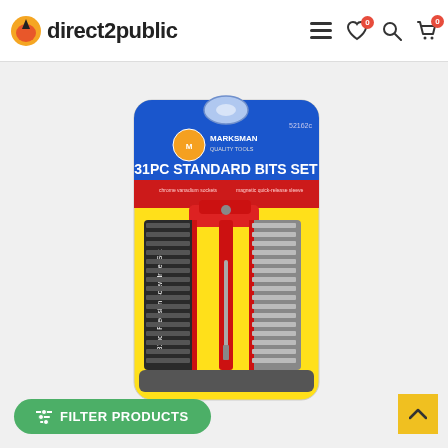direct2public
[Figure (photo): Marksman 31PC Standard Bits Set product in retail blister packaging. The set includes 31pcs Precision Screwdriver Set with a red T-bar handle and two rows of screwdriver bits stored in black and grey holders, displayed on a yellow background inside blue and red branded packaging.]
FILTER PRODUCTS